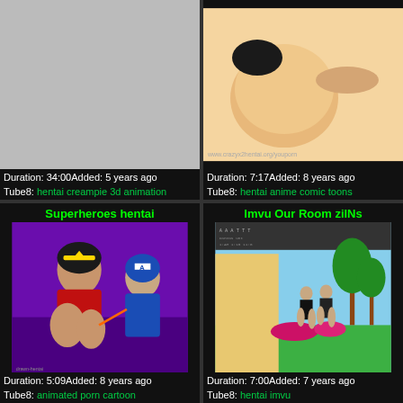[Figure (screenshot): Gray placeholder thumbnail for hentai creampie 3d animation video]
Duration: 34:00Added: 5 years ago
Tube8: hentai creampie 3d animation
[Figure (screenshot): Animated comic/hentai thumbnail showing characters]
Duration: 7:17Added: 8 years ago
Tube8: hentai anime comic toons
Superheroes hentai
[Figure (screenshot): Animated cartoon thumbnail showing superhero characters - Wonder Woman and Captain America style]
Duration: 5:09Added: 8 years ago
Tube8: animated porn cartoon
Imvu Our Room zilNs
[Figure (screenshot): 3D virtual world screenshot showing characters outdoors]
Duration: 7:00Added: 7 years ago
Tube8: hentai imvu